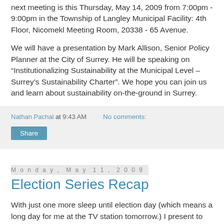next meeting is this Thursday, May 14, 2009 from 7:00pm - 9:00pm in the Township of Langley Municipal Facility: 4th Floor, Nicomekl Meeting Room, 20338 - 65 Avenue.
We will have a presentation by Mark Allison, Senior Policy Planner at the City of Surrey. He will be speaking on “Institutionalizing Sustainability at the Municipal Level – Surrey’s Sustainability Charter”. We hope you can join us and learn about sustainability on-the-ground in Surrey.
Nathan Pachal at 9:43 AM   No comments:
Share
Monday, May 11, 2009
Election Series Recap
With just one more sleep until election day (which means a long day for me at the TV station tomorrow.) I present to you a recap of the local Langley candidates that took the time to